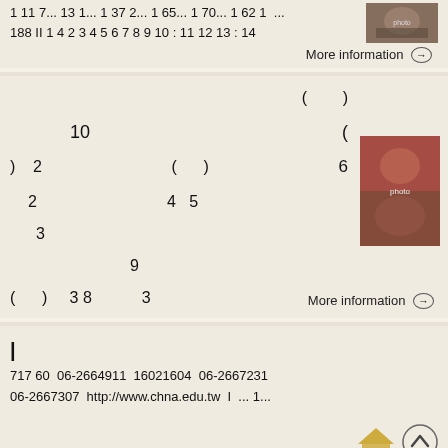1 11 7... 13 1... 1 37 2... 1 65... 1 70... 1 62 1 ... 188 II 1 4 2 3 4 5 6 7 8 9 10 : 11 12 13 : 14
[Figure (photo): Small thumbnail photo of people]
More information →
( ) 10 ( ) 2 ( ) 6 2 4 5 3 9 ( ) 3 8 3
[Figure (photo): Photo of people in red/pink setting]
More information →
|
717 60 06-2664911 16021604 06-2667231 06-2667307 http://www.chna.edu.tw I ... 1...